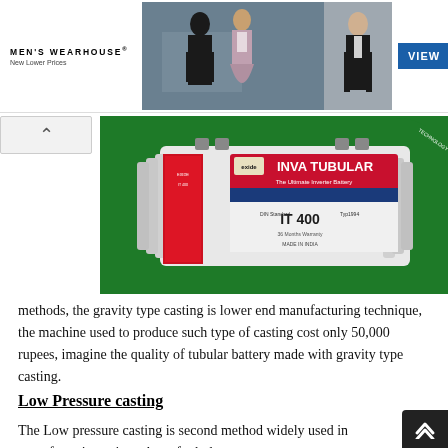[Figure (photo): Men's Wearhouse advertisement banner showing a couple in formal wear and a man in a tuxedo, with a blue VIEW button]
[Figure (photo): Exide Inva Tubular IT 400 inverter battery product image on green background]
methods, the gravity type casting is lower end manufacturing technique, the machine used to produce such type of casting cost only 50,000 rupees, imagine the quality of tubular battery made with gravity type casting.
Low Pressure casting
The Low pressure casting is second method widely used in manufacturing spine tubes of tubular